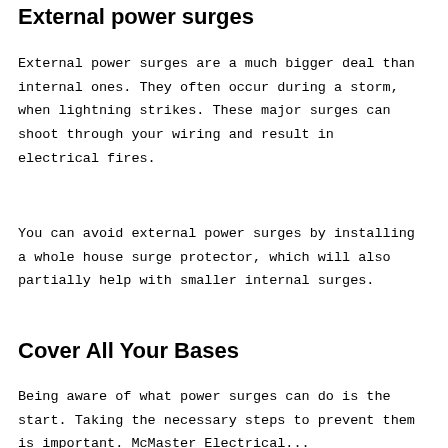External power surges
External power surges are a much bigger deal than internal ones. They often occur during a storm, when lightning strikes. These major surges can shoot through your wiring and result in electrical fires.
You can avoid external power surges by installing a whole house surge protector, which will also partially help with smaller internal surges.
Cover All Your Bases
Being aware of what power surges can do is the start. Taking the necessary steps to prevent them is important. McMaster Electrical...